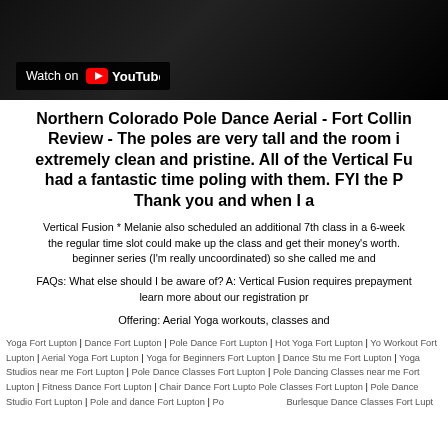[Figure (screenshot): YouTube video thumbnail with dark/black background and 'Watch on YouTube' badge in lower left]
Northern Colorado Pole Dance Aerial - Fort Collins Review - The poles are very tall and the room is extremely clean and pristine. All of the Vertical Fu had a fantastic time poling with them. FYI the P Thank you and when I a
Vertical Fusion * Melanie also scheduled an additional 7th class in a 6-week the regular time slot could make up the class and get their money's worth. beginner series (I'm really uncoordinated) so she called me and
FAQs: What else should I be aware of? A: Vertical Fusion requires prepayment learn more about our registration pr
Offering: Aerial Yoga workouts, classes and
Yoga Fort Lupton | Dance Fort Lupton | Pole Dance Fort Lupton | Hot Yoga Fort Lupton | Yoga Workout Fort Lupton | Aerial Yoga Fort Lupton | Yoga for Beginners Fort Lupton | Dance Studios near me Fort Lupton | Yoga Studios near me Fort Lupton | Pole Dance Classes Fort Lupton | Pole Dancing Classes near me Fort Lupton | Fitness Dance Fort Lupton | Chair Dance Fort Lupton | Pole Classes Fort Lupton | Pole Dance Studio Fort Lupton | Pole and dance Fort Lupton | Pole Burlesque Dance Classes Fort Lupton